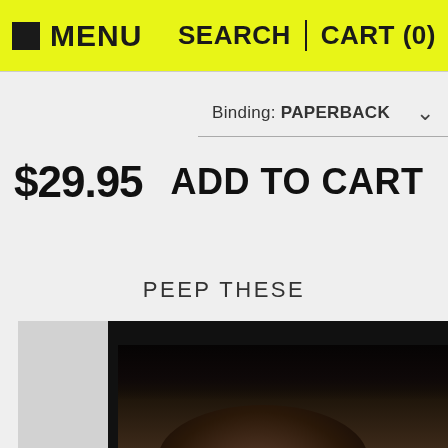MENU   SEARCH   CART (0)
Binding: PAPERBACK
$29.95   ADD TO CART
PEEP THESE
[Figure (photo): A dark portrait photograph showing a person with dark hair against a dark background, partially visible, cropped at the bottom of the page.]